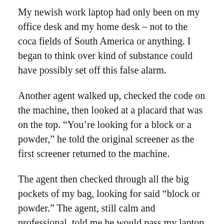My newish work laptop had only been on my office desk and my home desk – not to the coca fields of South America or anything. I began to think over kind of substance could have possibly set off this false alarm.
Another agent walked up, checked the code on the machine, then looked at a placard that was on the top. “You’re looking for a block or a powder,” he told the original screener as the first screener returned to the machine.
The agent then checked through all the big pockets of my bag, looking for said “block or powder.” The agent, still calm and professional, told me he would pass my laptop back through the X-ray machine. It came back fine, of course, and the agent reassembled everything and cordially sent me on my way.
I was mystified why a machine would flag my laptop –